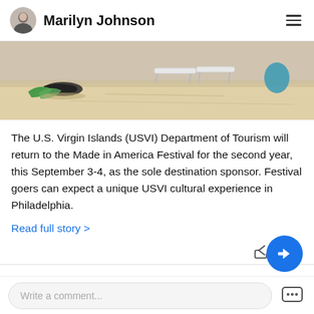Marilyn Johnson
[Figure (photo): Beach scene with snorkeling gear and lounge chairs on sandy beach]
The U.S. Virgin Islands (USVI) Department of Tourism will return to the Made in America Festival for the second year, this September 3-4, as the sole destination sponsor. Festival goers can expect a unique USVI cultural experience in Philadelphia.
Read full story >
Share